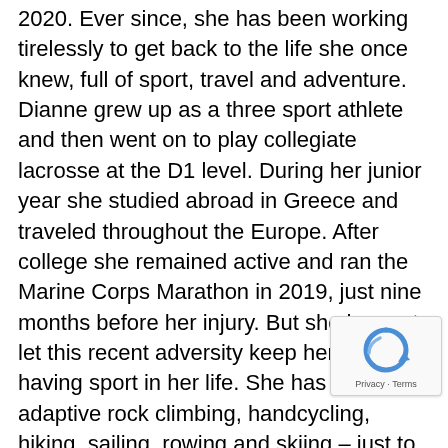2020. Ever since, she has been working tirelessly to get back to the life she once knew, full of sport, travel and adventure. Dianne grew up as a three sport athlete and then went on to play collegiate lacrosse at the D1 level. During her junior year she studied abroad in Greece and traveled throughout the Europe. After college she remained active and ran the Marine Corps Marathon in 2019, just nine months before her injury. But she has not let this recent adversity keep her from having sport in her life. She has tried adaptive rock climbing, handcycling, hiking, sailing, rowing and skiing – just to name a few. By sharing these adventures she wants to show others that being in a wheelchair does not have to limit your ability and spirit to explore and be active. Dianne is using her award to attend a weeklong Empower SCI Camp at Stony Brook University. Empower SCI, Inc. is a residential program cater to individuals who have suffered a SCI. The program is not only on the formal physical therapy, occupational
[Figure (other): reCAPTCHA privacy badge with circular arrow icon and 'Privacy - Terms' text]